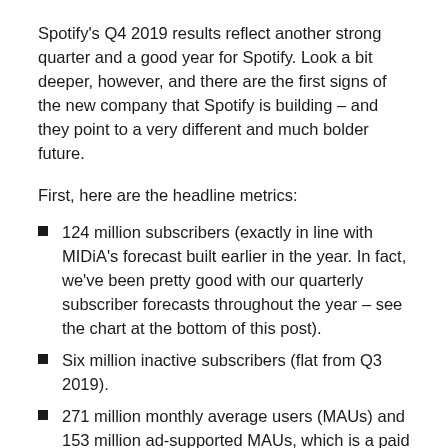Spotify's Q4 2019 results reflect another strong quarter and a good year for Spotify. Look a bit deeper, however, and there are the first signs of the new company that Spotify is building – and they point to a very different and much bolder future.
First, here are the headline metrics:
124 million subscribers (exactly in line with MIDiA's forecast built earlier in the year. In fact, we've been pretty good with our quarterly subscriber forecasts throughout the year – see the chart at the bottom of this post).
Six million inactive subscribers (flat from Q3 2019).
271 million monthly average users (MAUs) and 153 million ad-supported MAUs, which is a paid conversion rate of 45.8%, down a little from Q3 2019 and Q4 2018